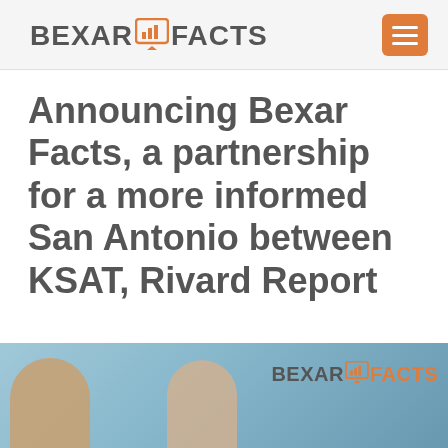BEXAR FACTS
Announcing Bexar Facts, a partnership for a more informed San Antonio between KSAT, Rivard Report
[Figure (photo): Photo of people at a Bexar Facts branded event, with the Bexar Facts logo visible in the background]